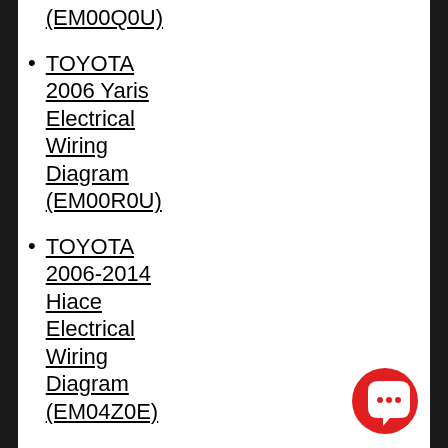(EM00Q0U)
TOYOTA 2006 Yaris Electrical Wiring Diagram (EM00R0U)
TOYOTA 2006-2014 Hiace Electrical Wiring Diagram (EM04Z0E)
TOYOTA 2006-2019 Hiace